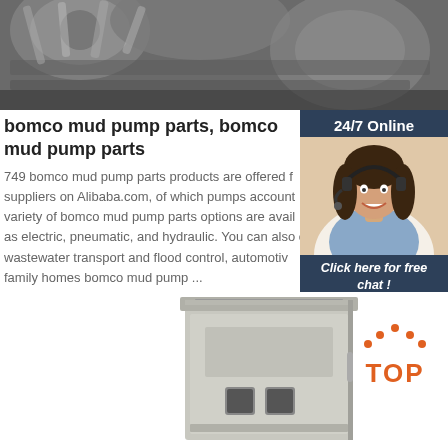[Figure (photo): Close-up photo of industrial metal pump/machinery parts with a dark metallic appearance]
bomco mud pump parts, bomco mud pump parts
749 bomco mud pump parts products are offered for sale by suppliers on Alibaba.com, of which pumps account for a variety of bomco mud pump parts options are available to you, as electric, pneumatic, and hydraulic. You can also choose wastewater transport and flood control, automotive, and family homes bomco mud pump ...
[Figure (infographic): 24/7 Online customer service widget showing a woman with a headset, 'Click here for free chat!' text, and a QUOTATION button]
Get Price
[Figure (photo): Industrial electrical control panel or enclosure, gray colored, shown from the front]
[Figure (logo): TOP logo with orange dots arranged in triangle above the word TOP in orange]